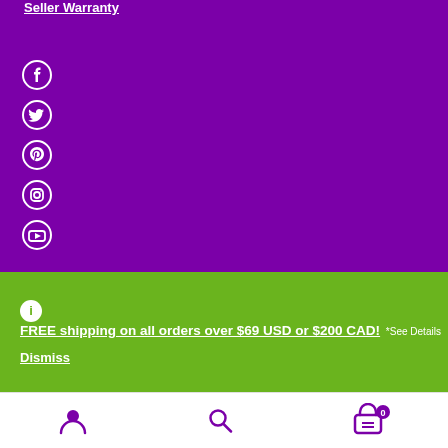Seller Warranty
[Figure (illustration): Social media icons: Facebook, Twitter, Pinterest, Instagram, YouTube in white on purple background]
FREE shipping on all orders over $69 USD or $200 CAD! *See Details
Dismiss
[Figure (illustration): Bottom navigation bar with user account icon, search icon, and shopping cart icon with badge showing 0]